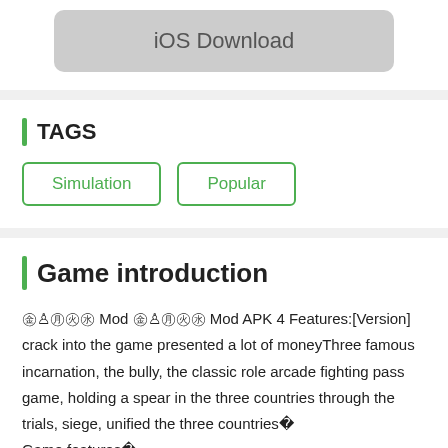[Figure (screenshot): iOS Download button — grey rounded rectangle with text 'iOS Download']
TAGS
Simulation
Popular
Game introduction
㊎♙㊊㊋㊌ Mod ㊎♙㊊㊋㊌ Mod APK 4 Features:[Version] crack into the game presented a lot of moneyThree famous incarnation, the bully, the classic role arcade fighting pass game, holding a spear in the three countries through the trials, siege, unified the three countries�
Game features�